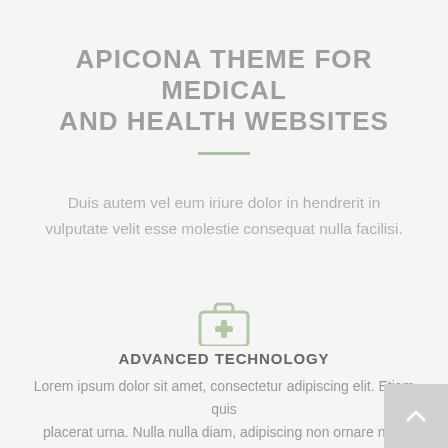APICONA THEME FOR MEDICAL AND HEALTH WEBSITES
Duis autem vel eum iriure dolor in hendrerit in vulputate velit esse molestie consequat nulla facilisi.
[Figure (illustration): Medical first aid kit / briefcase icon in light green/sage color]
ADVANCED TECHNOLOGY
Lorem ipsum dolor sit amet, consectetur adipiscing elit. Etiam quis placerat urna. Nulla nulla diam, adipiscing non ornare non, commodo adipiscing elit.